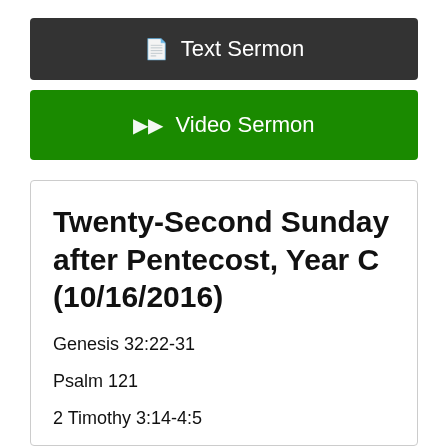Text Sermon
Video Sermon
Twenty-Second Sunday after Pentecost, Year C (10/16/2016)
Genesis 32:22-31
Psalm 121
2 Timothy 3:14-4:5